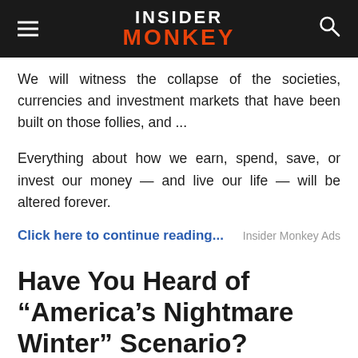INSIDER MONKEY
We will witness the collapse of the societies, currencies and investment markets that have been built on those follies, and ...
Everything about how we earn, spend, save, or invest our money — and live our life — will be altered forever.
Click here to continue...
Have You Heard of “America’s Nightmare Winter” Scenario?